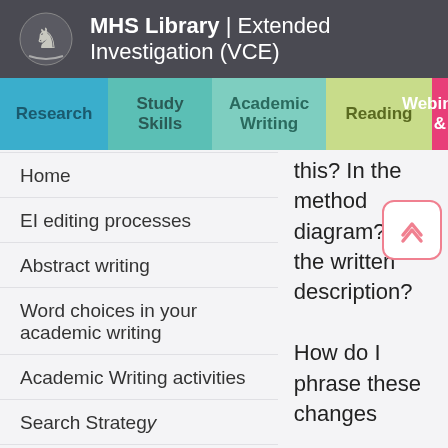MHS Library | Extended Investigation (VCE)
Research
Study Skills
Academic Writing
Reading
Webinars &
Home
EI editing processes
Abstract writing
Word choices in your academic writing
Academic Writing activities
Search Strategy
this? In the method diagram? In the written description? How do I phrase these changes